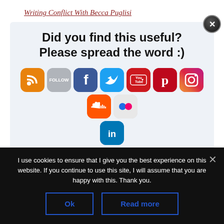Writing Conflict With Becca Puglisi
[Figure (infographic): Social sharing widget with light blue background. Text reads 'Did you find this useful? Please spread the word :)' followed by social media icons: RSS (orange), Follow (gray), Facebook (blue), Twitter (blue), YouTube (red), Pinterest (red), Instagram (gradient), SoundCloud (orange), Flickr (gray with dots), LinkedIn (blue). A black close button is in the top right corner.]
Archives
I use cookies to ensure that I give you the best experience on this website. If you continue to use this site, I will assume that you are happy with this. Thank you.
Ok   Read more